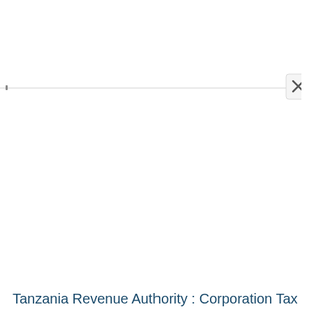[Figure (screenshot): Browser UI element showing a horizontal line/bar near the top of the page with a close (X) button on the right side, likely a browser notification bar or dialog header.]
Tanzania Revenue Authority : Corporation Tax